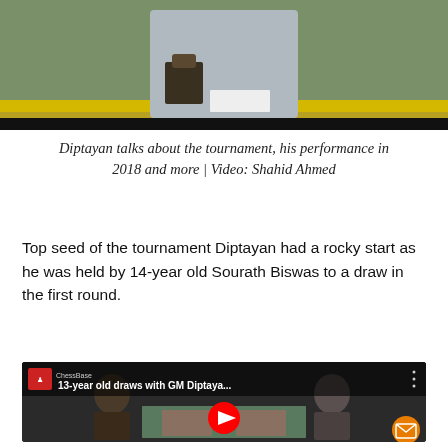[Figure (photo): Partial photo showing a person in a grey shirt sitting at a table with a trophy, black bar at bottom]
Diptayan talks about the tournament, his performance in 2018 and more | Video: Shahid Ahmed
Top seed of the tournament Diptayan had a rocky start as he was held by 14-year old Sourath Biswas to a draw in the first round.
[Figure (screenshot): YouTube video thumbnail titled '13-year old draws with GM Diptaya...' showing two young boys playing chess across a table, with red YouTube play button overlay and ChessBase logo]